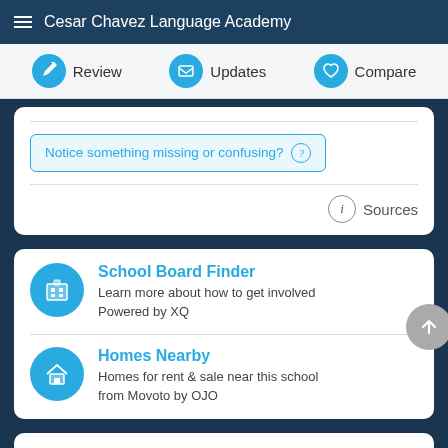Cesar Chavez Language Academy
Review | Updates | Compare
Notice something missing or confusing? ?
Sources
School Board Finder
Learn more about how to get involved
Powered by XQ
Homes Nearby
Homes for rent & sale near this school
from Movoto by OJO
ENVIRONMENT